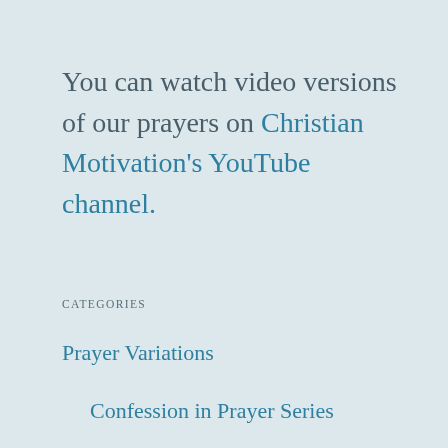You can watch video versions of our prayers on Christian Motivation's YouTube channel.
CATEGORIES
Prayer Variations
Confession in Prayer Series